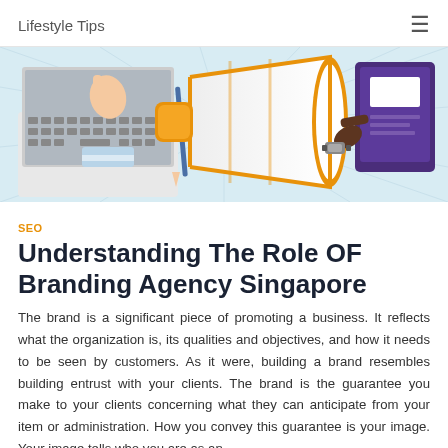Lifestyle Tips
[Figure (illustration): Marketing/branding illustration showing a hand typing on a laptop keyboard on the left, a large orange and white megaphone in the center, and a dark-skinned hand pointing at a purple screen on the right, all on a light blue background with radial lines.]
SEO
Understanding The Role OF Branding Agency Singapore
The brand is a significant piece of promoting a business. It reflects what the organization is, its qualities and objectives, and how it needs to be seen by customers. As it were, building a brand resembles building entrust with your clients. The brand is the guarantee you make to your clients concerning what they can anticipate from your item or administration. How you convey this guarantee is your image. Your image tells who you are as an